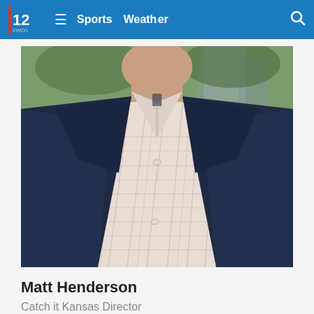12 KWCH  ≡  Sports  Weather  🔍
[Figure (photo): Close-up photo of Matt Henderson, a man wearing a navy blue blazer and a white/pink plaid button-down shirt, cropped from neck to waist, with greenery visible in the background.]
Matt Henderson
Catch it Kansas Director